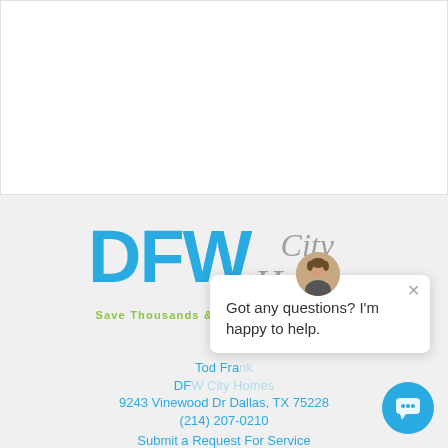[Figure (illustration): White rectangular box at top of page, likely containing an image or map that is not visible]
[Figure (logo): DFW City Homes logo — 'DFW' in large cyan/blue bold text, 'City Homes' in gray italic serif text, tagline 'Save Thousands & Simplify The Process' in green below]
[Figure (screenshot): Chat popup widget with avatar photo of a man, close button X, and text 'Got any questions? I'm happy to help.' Also a cyan chat bubble button in the bottom right corner.]
Tod Fra...
DF...
9243 Vinewood Dr Dallas, TX 75228
(214) 207-0210
Submit a Request For Service